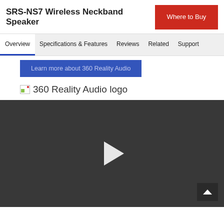SRS-NS7 Wireless Neckband Speaker
Where to Buy
Overview | Specifications & Features | Reviews | Related | Support
Learn more about 360 Reality Audio
[Figure (logo): 360 Reality Audio logo — broken image icon followed by text '360 Reality Audio logo']
[Figure (screenshot): Dark video player with a white play button triangle in the center and a scroll-up chevron button at bottom right]